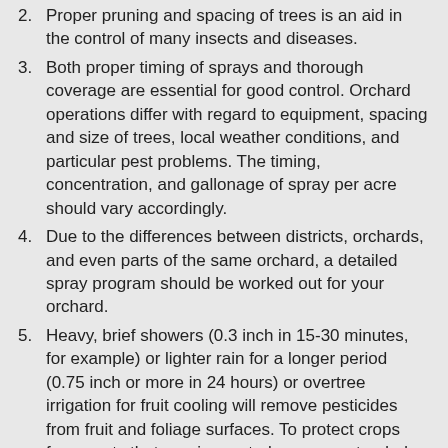2. Proper pruning and spacing of trees is an aid in the control of many insects and diseases.
3. Both proper timing of sprays and thorough coverage are essential for good control. Orchard operations differ with regard to equipment, spacing and size of trees, local weather conditions, and particular pest problems. The timing, concentration, and gallonage of spray per acre should vary accordingly.
4. Due to the differences between districts, orchards, and even parts of the same orchard, a detailed spray program should be worked out for your orchard.
5. Heavy, brief showers (0.3 inch in 15-30 minutes, for example) or lighter rain for a longer period (0.75 inch or more in 24 hours) or overtree irrigation for fruit cooling will remove pesticides from fruit and foliage surfaces. To protect crops from pests that require control over an extended period, such as codling moth and cherry fruit fly, it may be necessary to reapply a pesticide to maintain coverage. If you wish to reapply the same product, check the between-spray interval allowed on the label.